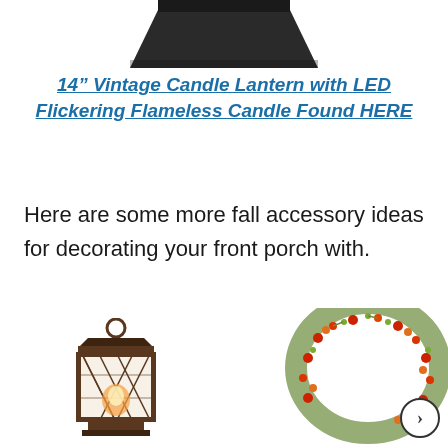[Figure (photo): Partial view of a dark vintage candle lantern item from above, cut off at top of page]
14” Vintage Candle Lantern with LED Flickering Flameless Candle Found HERE
Here are some more fall accessory ideas for decorating your front porch with.
[Figure (photo): Bronze vintage-style candle lantern with LED flickering flameless candle inside, diamond lattice glass panels]
[Figure (photo): Fall harvest wreath made with red and orange berries and green foliage, partially visible on right side]